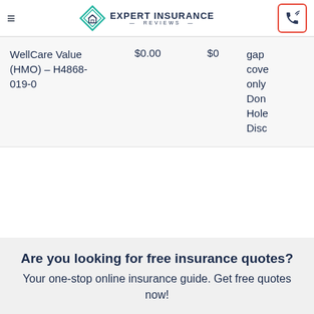Expert Insurance Reviews
| Plan | Price1 | Price2 | Coverage |
| --- | --- | --- | --- |
| WellCare Value (HMO) – H4868-019-0 | $0.00 | $0 | gap cove only Don Hole Disc |
Are you looking for free insurance quotes?
Your one-stop online insurance guide. Get free quotes now!